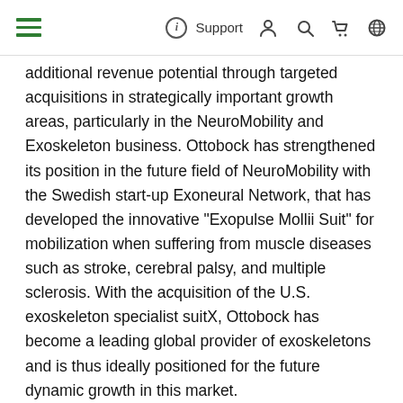≡  ⓘ Support 👤 🔍 🛒 🌐
additional revenue potential through targeted acquisitions in strategically important growth areas, particularly in the NeuroMobility and Exoskeleton business. Ottobock has strengthened its position in the future field of NeuroMobility with the Swedish start-up Exoneural Network, that has developed the innovative "Exopulse Mollii Suit" for mobilization when suffering from muscle diseases such as stroke, cerebral palsy, and multiple sclerosis. With the acquisition of the U.S. exoskeleton specialist suitX, Ottobock has become a leading global provider of exoskeletons and is thus ideally positioned for the future dynamic growth in this market.
For more than a century, Ottobock has been driving innovation to improve treatment outcomes. In 2021, the company invested 7.4 percent of its revenue in R&D (previous year: 6.9%). The company holds 1,950 granted patents and has about 770 additional patents pending. Among them are